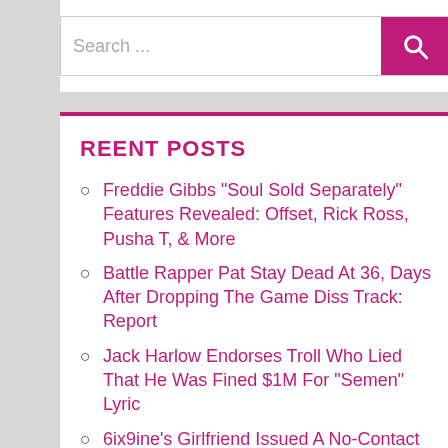Search ...
REENT POSTS
Freddie Gibbs "Soul Sold Separately" Features Revealed: Offset, Rick Ross, Pusha T, & More
Battle Rapper Pat Stay Dead At 36, Days After Dropping The Game Diss Track: Report
Jack Harlow Endorses Troll Who Lied That He Was Fined $1M For "Semen" Lyric
6ix9ine's Girlfriend Issued A No-Contact Order Following Domestic Violence Incident
The Weeknd Cancels Sold-Out Los Angeles